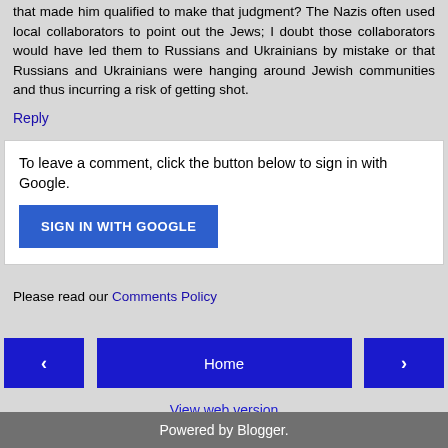that made him qualified to make that judgment? The Nazis often used local collaborators to point out the Jews; I doubt those collaborators would have led them to Russians and Ukrainians by mistake or that Russians and Ukrainians were hanging around Jewish communities and thus incurring a risk of getting shot.
Reply
To leave a comment, click the button below to sign in with Google.
SIGN IN WITH GOOGLE
Please read our Comments Policy
‹
Home
›
View web version
Powered by Blogger.